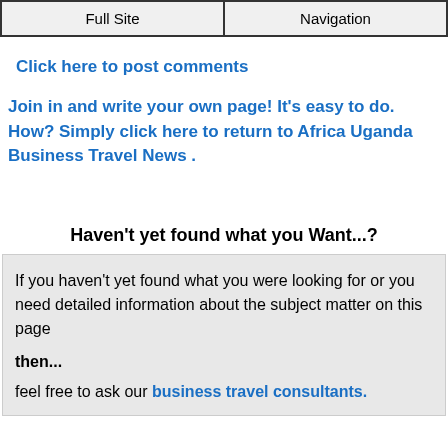Full Site | Navigation
Click here to post comments
Join in and write your own page! It's easy to do. How? Simply click here to return to Africa Uganda Business Travel News .
Haven't yet found what you Want...?
If you haven't yet found what you were looking for or you need detailed information about the subject matter on this page

then...

feel free to ask our business travel consultants.